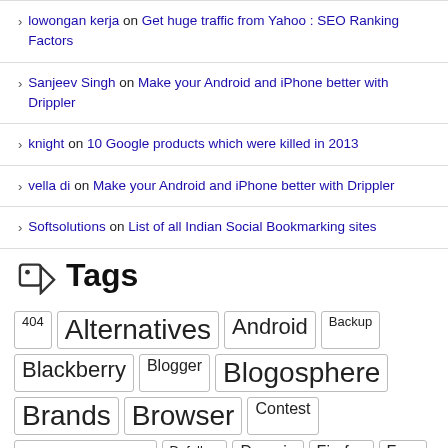lowongan kerja on Get huge traffic from Yahoo : SEO Ranking Factors
Sanjeev Singh on Make your Android and iPhone better with Drippler
knight on 10 Google products which were killed in 2013
vella di on Make your Android and iPhone better with Drippler
Softsolutions on List of all Indian Social Bookmarking sites
Tags
404, Alternatives, Android, Backup, Blackberry, Blogger, Blogosphere, Brands, Browser, Contest, Creative, Dofollow, Domain, Firefox, Free, Funny, Giveaway, Google, hacks, IE, Images, india, InfoGraphic, Linux